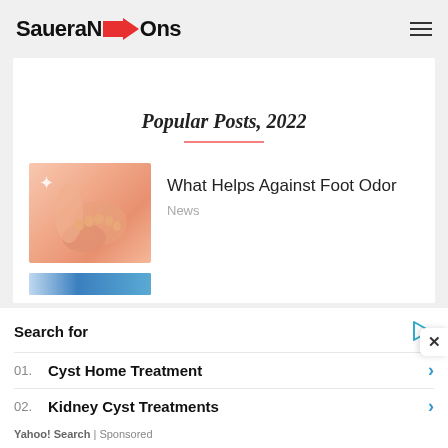SaueraNDS→Ons
Popular Posts, 2022
[Figure (photo): Thumbnail image of hands touching feet on a pink background with a star icon overlay]
What Helps Against Foot Odor
News
[Figure (photo): Partial blue image thumbnail visible at bottom of page]
Search for
01. Cyst Home Treatment
02. Kidney Cyst Treatments
Yahoo! Search | Sponsored